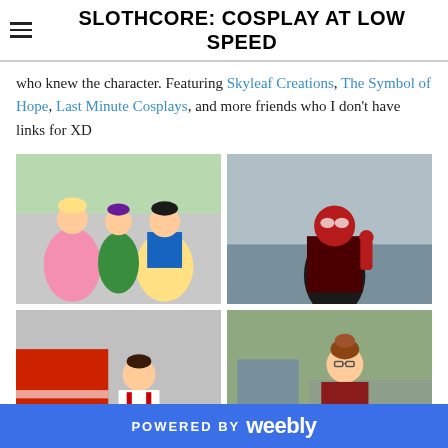SLOTHCORE: COSPLAY AT LOW SPEED
who knew the character. Featuring Skyleaf Creations, The Symbol of Hope, Last Minute Cosplays, and more friends who I don't have links for XD
[Figure (photo): Group cosplay photo showing three people dressed as Disney princesses (Aurora in pink, a character in purple/green, and Snow White in blue/yellow) at an outdoor event]
[Figure (photo): Person in a red and black Spider-Man cosplay suit making a peace sign at an outdoor event with vehicles in background]
[Figure (photo): Woman in a white and red cosplay outfit posing in front of a red fire truck]
[Figure (photo): Woman in a dark red top with glasses and updo hairstyle posing outdoors near houses and trees]
POWERED BY weebly